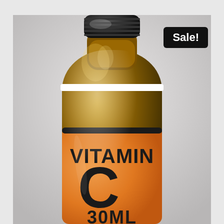[Figure (photo): Close-up photo of an amber glass dropper bottle with a black cap, containing an orange-brown liquid. The bottle has an orange label reading 'VITAMIN C 30ML' in large bold dark letters.]
Sale!